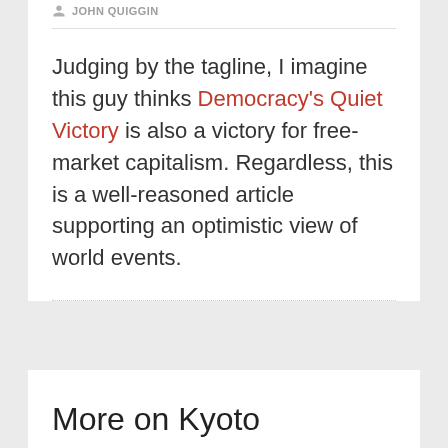JOHN QUIGGIN
Judging by the tagline, I imagine this guy thinks Democracy's Quiet Victory is also a victory for free-market capitalism. Regardless, this is a well-reasoned article supporting an optimistic view of world events.
More on Kyoto
AUGUST 19, 2002
JOHN QUIGGIN